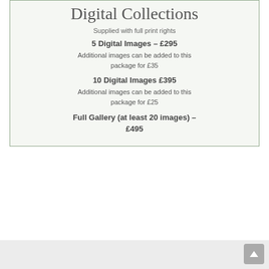Digital Collections
Supplied with full print rights
5 Digital Images – £295
Additional images can be added to this package for £35
10 Digital Images £395
Additional images can be added to this package for £25
Full Gallery (at least 20 images) – £495